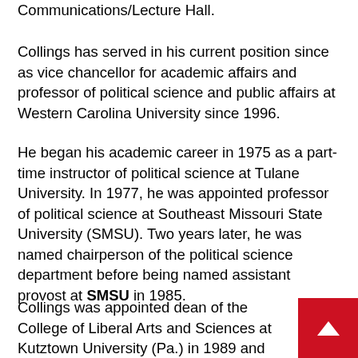Communications/Lecture Hall.
Collings has served in his current position since as vice chancellor for academic affairs and professor of political science and public affairs at Western Carolina University since 1996.
He began his academic career in 1975 as a part-time instructor of political science at Tulane University. In 1977, he was appointed professor of political science at Southeast Missouri State University (SMSU). Two years later, he was named chairperson of the political science department before being named assistant provost at SMSU in 1985.
Collings was appointed dean of the College of Liberal Arts and Sciences at Kutztown University (Pa.) in 1989 and was later named provost and